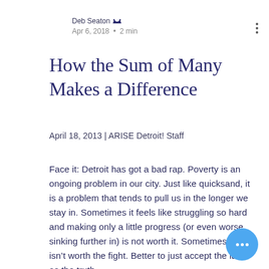Deb Seaton ♛
Apr 6, 2018 • 2 min
How the Sum of Many Makes a Difference
April 18, 2013 | ARISE Detroit! Staff
Face it: Detroit has got a bad rap. Poverty is an ongoing problem in our city. Just like quicksand, it is a problem that tends to pull us in the longer we stay in. Sometimes it feels like struggling so hard and making only a little progress (or even worse, sinking further in) is not worth it. Sometimes it just isn't worth the fight. Better to just accept the label as the truth.